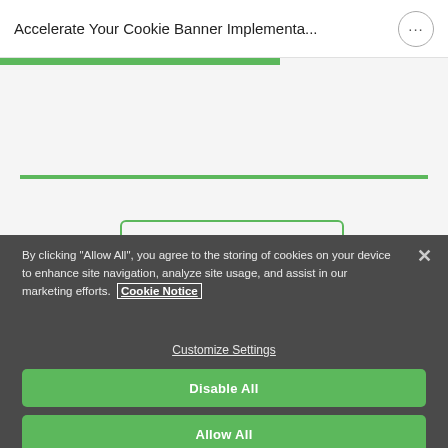Accelerate Your Cookie Banner Implementa...
By clicking “Allow All”, you agree to the storing of cookies on your device to enhance site navigation, analyze site usage, and assist in our marketing efforts. Cookie Notice
Customize Settings
Disable All
Allow All